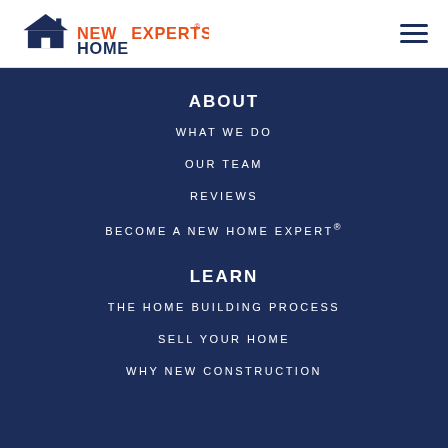[Figure (logo): New Home Experts logo with house icon and orange/navy text]
ABOUT
WHAT WE DO
OUR TEAM
REVIEWS
BECOME A NEW HOME EXPERT®
LEARN
THE HOME BUILDING PROCESS
SELL YOUR HOME
WHY NEW CONSTRUCTION